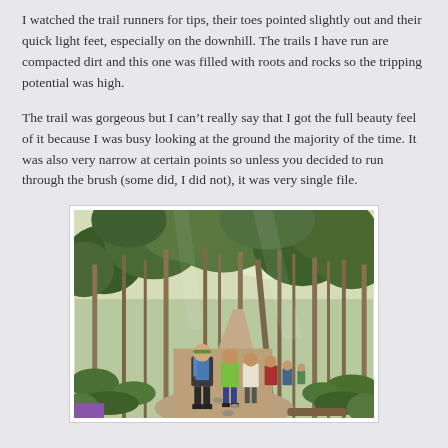I watched the trail runners for tips, their toes pointed slightly out and their quick light feet, especially on the downhill. The trails I have run are compacted dirt and this one was filled with roots and rocks so the tripping potential was high.
The trail was gorgeous but I can't really say that I got the full beauty feel of it because I was busy looking at the ground the majority of the time. It was also very narrow at certain points so unless you decided to run through the brush (some did, I did not), it was very single file.
[Figure (photo): A group of trail runners and hikers walking along a narrow forest trail surrounded by tall trees and green foliage. Several people wearing colorful athletic gear with backpacks are visible from behind on a dirt path.]